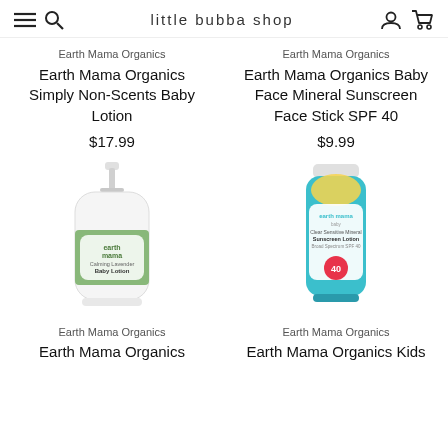little bubba shop
Earth Mama Organics
Earth Mama Organics Simply Non-Scents Baby Lotion
$17.99
Earth Mama Organics
Earth Mama Organics Baby Face Mineral Sunscreen Face Stick SPF 40
$9.99
[Figure (photo): Earth Mama Organics Calming Lavender Baby Lotion pump bottle with green label]
[Figure (photo): Earth Mama Organics Kids Clear Sensitive Mineral Sunscreen Lotion tube, teal/white with SPF 40 badge]
Earth Mama Organics
Earth Mama Organics
Earth Mama Organics
Earth Mama Organics Kids